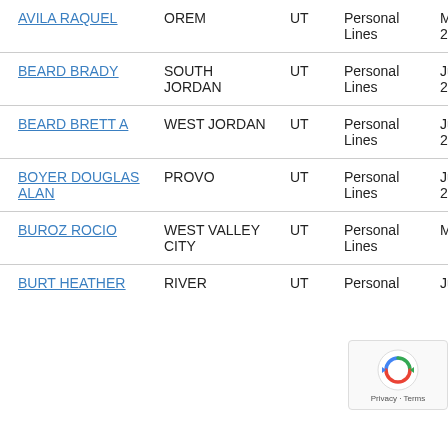| Name | City | State | Line | Date |
| --- | --- | --- | --- | --- |
| AVILA RAQUEL | OREM | UT | Personal Lines | May 21, 2022 |
| BEARD BRADY | SOUTH JORDAN | UT | Personal Lines | Jul 20, 2022 |
| BEARD BRETT A | WEST JORDAN | UT | Personal Lines | Jun 30, 2022 |
| BOYER DOUGLAS ALAN | PROVO | UT | Personal Lines | Jul 20, 2022 |
| BUROZ ROCIO | WEST VALLEY CITY | UT | Personal Lines | May |
| BURT HEATHER | RIVER | UT | Personal | Jun 0 |